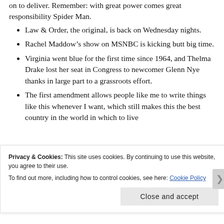on to deliver. Remember: with great power comes great responsibility Spider Man.
Law & Order, the original, is back on Wednesday nights.
Rachel Maddow’s show on MSNBC is kicking butt big time.
Virginia went blue for the first time since 1964, and Thelma Drake lost her seat in Congress to newcomer Glenn Nye thanks in large part to a grassroots effort.
The first amendment allows people like me to write things like this whenever I want, which still makes this the best country in the world in which to live
Privacy & Cookies: This site uses cookies. By continuing to use this website, you agree to their use.
To find out more, including how to control cookies, see here: Cookie Policy
Close and accept